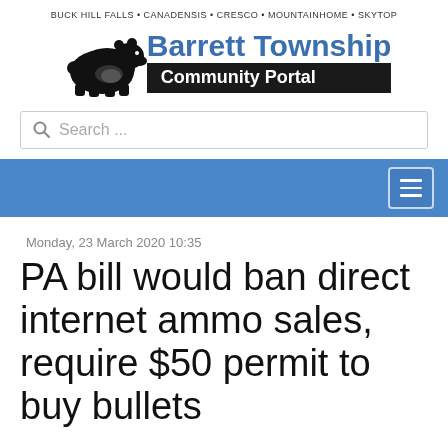BUCK HILL FALLS • CANADENSIS • CRESCO • MOUNTAINHOME • SKYTOP
[Figure (logo): Barrett Township Community Portal logo with black bear silhouette, blue 'Barrett Township' text, and black bar with white 'Community Portal' text]
Search ...
Monday, 23 March 2020 10:35
PA bill would ban direct internet ammo sales, require $50 permit to buy bullets